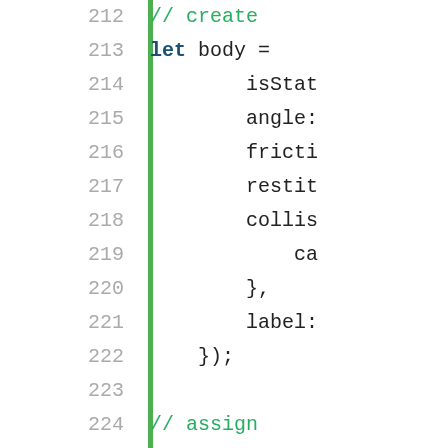[Figure (screenshot): Source code editor screenshot showing lines 212-234 of JavaScript code with line numbers on the left, a green vertical bar separator, and code content on the right. Keywords are bold dark blue, comments are green, and regular code is dark/black monospace text.]